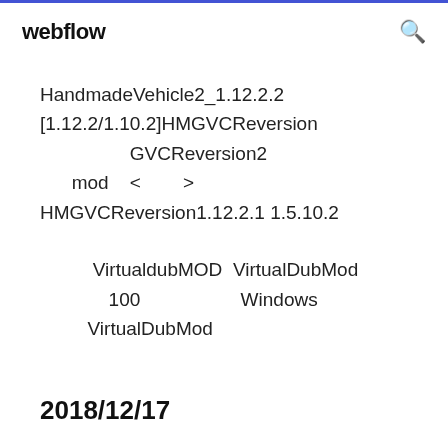webflow
HandmadeVehicle2_1.12.2.2 [1.12.2/1.10.2]HMGVCReversion GVCReversion2 mod < > HMGVCReversion1.12.2.1 1.5.10.2
VirtualdubMOD  VirtualDubMod 100                      Windows VirtualDubMod
2018/12/17